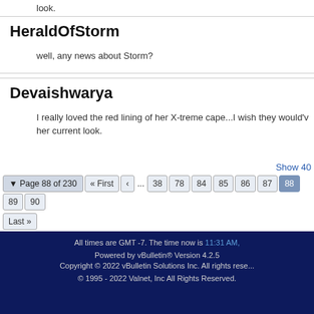look.
HeraldOfStorm
well, any news about Storm?
Devaishwarya
I really loved the red lining of her X-treme cape...I wish they would've kept it in her current look.
Page 88 of 230 | First | < | ... | 38 | 78 | 84 | 85 | 86 | 87 | 88 | 89 | 90 | Last
All times are GMT -7. The time now is 11:31 AM. Powered by vBulletin® Version 4.2.5 Copyright © 2022 vBulletin Solutions Inc. All rights reserved. © 1995 - 2022 Valnet, Inc All Rights Reserved.